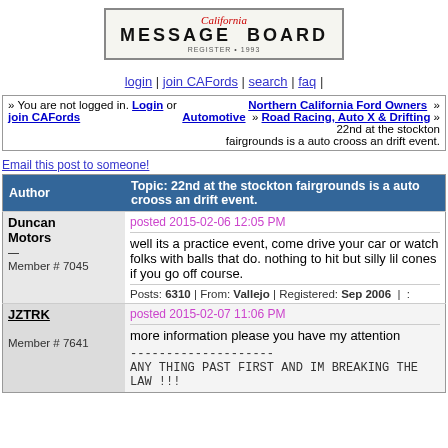[Figure (logo): California Message Board logo styled as a license plate]
login | join CAFords | search | faq |
Northern California Ford Owners » Automotive » Road Racing, Auto X & Drifting » 22nd at the stockton fairgrounds is a auto crooss an drift event. | » You are not logged in. Login or join CAFords
Email this post to someone!
| Author | Topic: 22nd at the stockton fairgrounds is a auto crooss an drift event. |
| --- | --- |
| Duncan Motors
Member # 7045 | posted 2015-02-06 12:05 PM
well its a practice event, come drive your car or watch folks with balls that do. nothing to hit but silly lil cones if you go off course.
Posts: 6310 | From: Vallejo | Registered: Sep 2006 | : |
| JZTRK
Member # 7641 | posted 2015-02-07 11:06 PM
more information please you have my attention
--------------------
ANY THING PAST FIRST AND IM BREAKING THE LAW !!! |